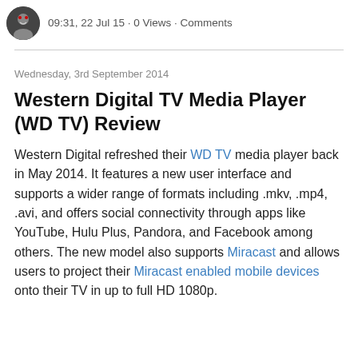09:31, 22 Jul 15 · 0 Views · Comments
Wednesday, 3rd September 2014
Western Digital TV Media Player (WD TV) Review
Western Digital refreshed their WD TV media player back in May 2014. It features a new user interface and supports a wider range of formats including .mkv, .mp4, .avi, and offers social connectivity through apps like YouTube, Hulu Plus, Pandora, and Facebook among others. The new model also supports Miracast and allows users to project their Miracast enabled mobile devices onto their TV in up to full HD 1080p.